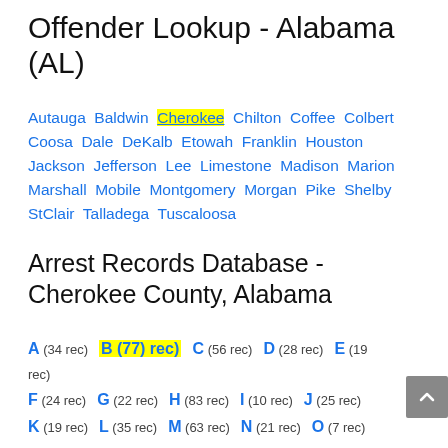Offender Lookup - Alabama (AL)
Autauga Baldwin Cherokee Chilton Coffee Colbert Coosa Dale DeKalb Etowah Franklin Houston Jackson Jefferson Lee Limestone Madison Marion Marshall Mobile Montgomery Morgan Pike Shelby StClair Talladega Tuscaloosa
Arrest Records Database - Cherokee County, Alabama
A (34 rec) B (77 rec) C (56 rec) D (28 rec) E (19 rec) F (24 rec) G (22 rec) H (83 rec) I (10 rec) J (25 rec) K (19 rec) L (35 rec) M (63 rec) N (21 rec) O (7 rec) P (35 rec) Q (1 rec) R (53 rec) S (71 rec) T (30 rec) V (12 rec) W (83 rec) Y (2 rec) Z (3 rec)